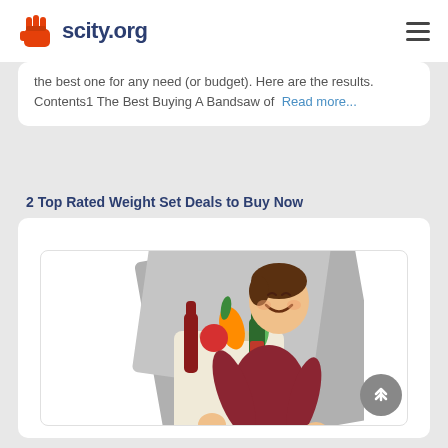scity.org
the best one for any need (or budget). Here are the results. Contents1 The Best Buying A Bandsaw of  Read more...
2 Top Rated Weight Set Deals to Buy Now
[Figure (illustration): Illustration of a smiling man holding a grocery bag filled with vegetables and a wine bottle, with grey geometric shapes in the background]